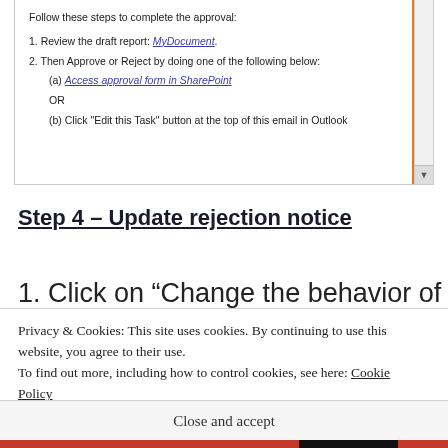Follow these steps to complete the approval:
1. Review the draft report: MyDocument.
2. Then Approve or Reject by doing one of the following below:
(a) Access approval form in SharePoint
OR
(b) Click "Edit this Task" button at the top of this email in Outlook
Step 4 – Update rejection notice
1. Click on “Change the behavior of the
Privacy & Cookies: This site uses cookies. By continuing to use this website, you agree to their use.
To find out more, including how to control cookies, see here: Cookie Policy
Close and accept